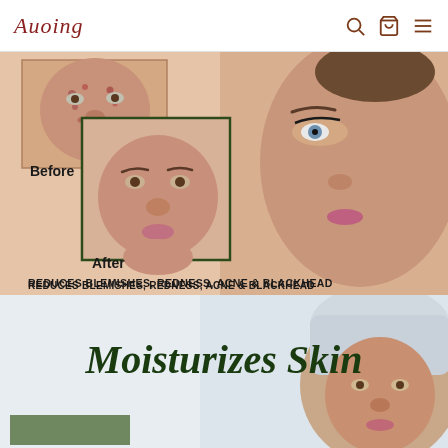Auoing
[Figure (photo): Before and after skincare comparison photos showing acne-prone skin before treatment and clear skin after treatment, alongside a close-up of a woman's face with blue eyes and makeup]
REDUCES BLEMISHES, REDNESS, ACNE & BLACKHEAD
[Figure (photo): Woman with towel on head representing moisturized skin, with text 'Moisturizes Skin' and a product image at the bottom]
Moisturizes Skin